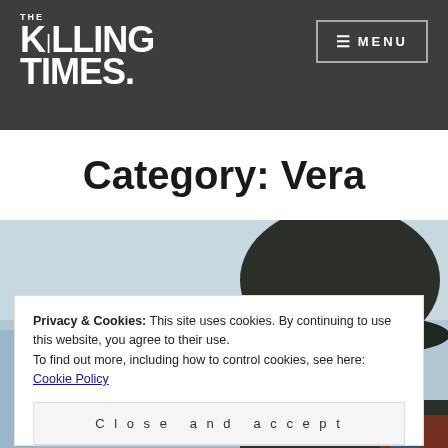THE KILLING TIMES.
Category: Vera
[Figure (photo): Partial view of a person wearing a dark rain hat and coat outdoors, sky visible in background]
Privacy & Cookies: This site uses cookies. By continuing to use this website, you agree to their use. To find out more, including how to control cookies, see here: Cookie Policy
Close and accept